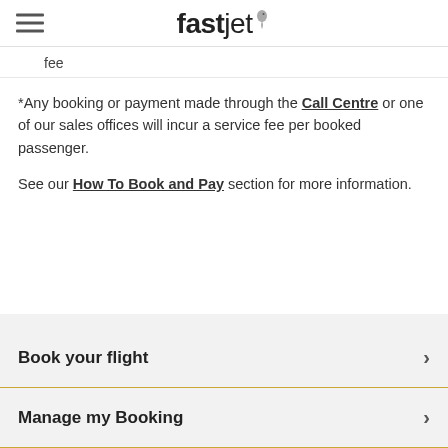fastjet
fee
*Any booking or payment made through the Call Centre or one of our sales offices will incur a service fee per booked passenger.
See our How To Book and Pay section for more information.
Book your flight
Manage my Booking